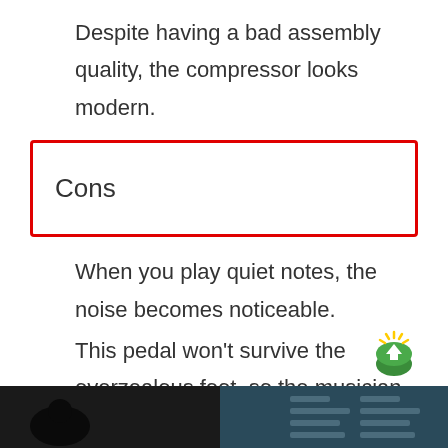Despite having a bad assembly quality, the compressor looks modern.
Cons
When you play quiet notes, the noise becomes noticeable.
This pedal won't survive the overzealous foot, so the musician has to be careful with this bass compression pedal.
Video Behringer CS400
[Figure (photo): Video thumbnail showing a dark image, appears to be a music-related video for Behringer CS400]